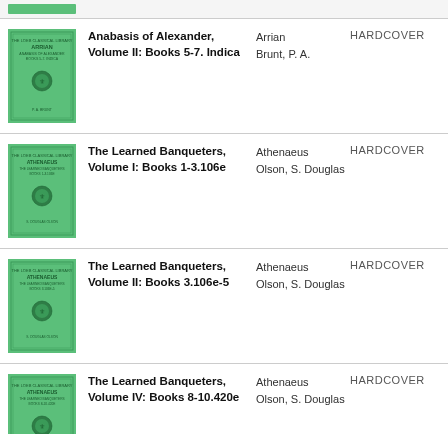Anabasis of Alexander, Volume II: Books 5-7. Indica | Arrian, Brunt, P. A. | HARDCOVER
The Learned Banqueters, Volume I: Books 1-3.106e | Athenaeus, Olson, S. Douglas | HARDCOVER
The Learned Banqueters, Volume II: Books 3.106e-5 | Athenaeus, Olson, S. Douglas | HARDCOVER
The Learned Banqueters, Volume IV: Books 8-10.420e | Athenaeus, Olson, S. Douglas | HARDCOVER